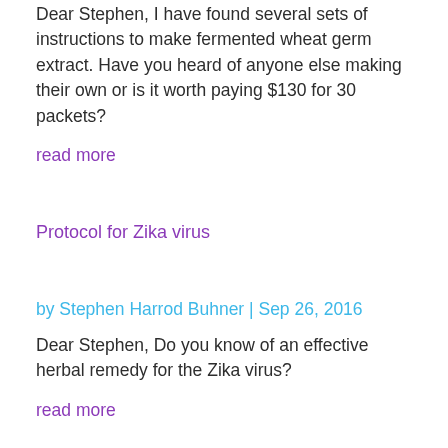Dear Stephen, I have found several sets of instructions to make fermented wheat germ extract. Have you heard of anyone else making their own or is it worth paying $130 for 30 packets?
read more
Protocol for Zika virus
by Stephen Harrod Buhner | Sep 26, 2016
Dear Stephen, Do you know of an effective herbal remedy for the Zika virus?
read more